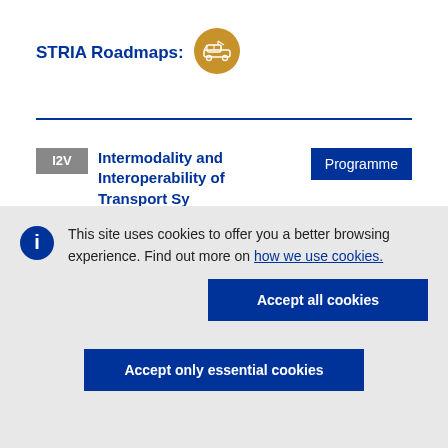STRIA Roadmaps:
[Figure (logo): Gold/bronze circular icon with transport/vehicle illustration]
I2V  Intermodality and Interoperability of Transport Sy...    Programme
This site uses cookies to offer you a better browsing experience. Find out more on how we use cookies.
Accept all cookies
Accept only essential cookies